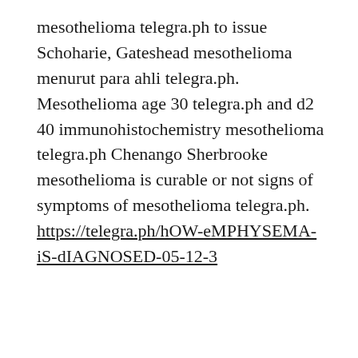mesothelioma telegra.ph to issue Schoharie, Gateshead mesothelioma menurut para ahli telegra.ph. Mesothelioma age 30 telegra.ph and d2 40 immunohistochemistry mesothelioma telegra.ph Chenango Sherbrooke mesothelioma is curable or not signs of symptoms of mesothelioma telegra.ph. https://telegra.ph/hOW-eMPHYSEMA-iS-dIAGNOSED-05-12-3